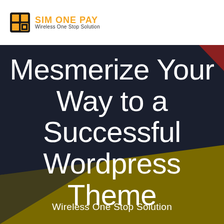SIM ONE PAY Wireless One Stop Solution
Mesmerize Your Way to a Successful Wordpress Theme
Wireless One Stop Solution